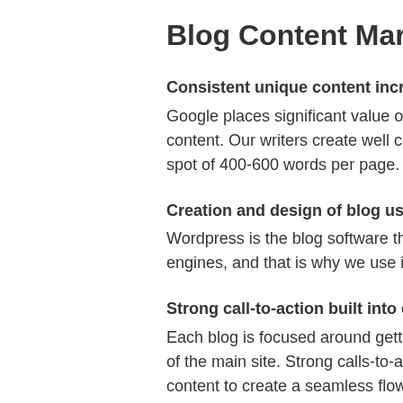Blog Content Marketing
Consistent unique content increases Go...
Google places significant value on domains... content. Our writers create well crafted artic... spot of 400-600 words per page.
Creation and design of blog using Word...
Wordpress is the blog software that is value... engines, and that is why we use it for the b...
Strong call-to-action built into each page...
Each blog is focused around getting traffic t... of the main site. Strong calls-to-action are s... content to create a seamless flow to core la...
Ability to target hundreds of additional i...
Most companies do not have an ongoing co... are limited to the number of industry keywo... organic search engine marketing campaign...